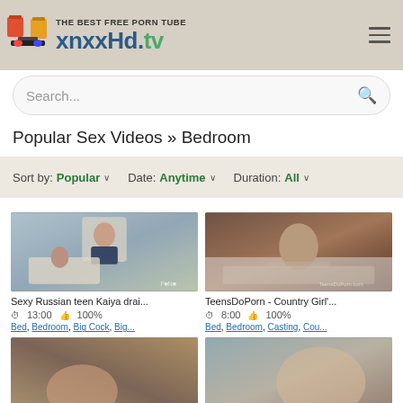[Figure (logo): xnxxHd.tv website header logo with tagline 'THE BEST FREE PORN TUBE']
Search...
Popular Sex Videos » Bedroom
Sort by: Popular ∨  Date: Anytime ∨  Duration: All ∨
[Figure (photo): Video thumbnail - couple in bedroom scene]
Sexy Russian teen Kaiya drai...
⏱ 13:00  👍 100%
Bed, Bedroom, Big Cock, Big...
[Figure (photo): Video thumbnail - teen girl on bed]
TeensDoPorn - Country Girl'...
⏱ 8:00  👍 100%
Bed, Bedroom, Casting, Cou...
[Figure (photo): Video thumbnail - partially visible bottom left]
[Figure (photo): Video thumbnail - partially visible bottom right]